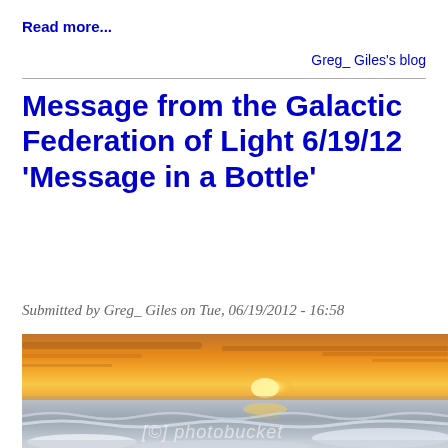Read more...
Greg_ Giles's blog
Message from the Galactic Federation of Light 6/19/12 'Message in a Bottle'
Submitted by Greg_ Giles on Tue, 06/19/2012 - 16:58
[Figure (photo): Sunset over the ocean with waves washing onto a beach, orange and gold sky with the sun on the horizon. Photobucket watermark visible.]